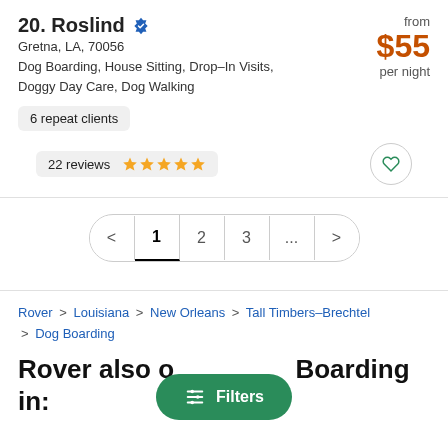20. Roslind
Gretna, LA, 70056
Dog Boarding, House Sitting, Drop-In Visits, Doggy Day Care, Dog Walking
from $55 per night
6 repeat clients
22 reviews ★★★★★
Pagination: < 1 2 3 ... >
Rover > Louisiana > New Orleans > Tall Timbers–Brechtel > Dog Boarding
Rover also offers Dog Boarding in:
Filters